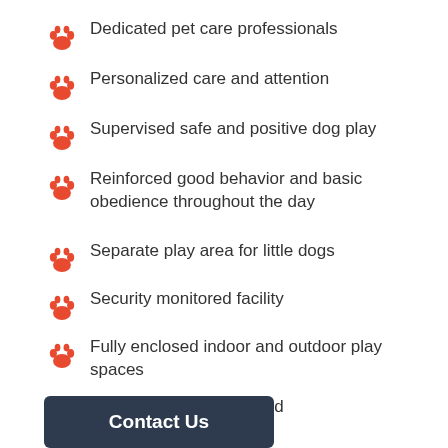Dedicated pet care professionals
Personalized care and attention
Supervised safe and positive dog play
Reinforced good behavior and basic obedience throughout the day
Separate play area for little dogs
Security monitored facility
Fully enclosed indoor and outdoor play spaces
Fully Insured and Bonded
Contact Us